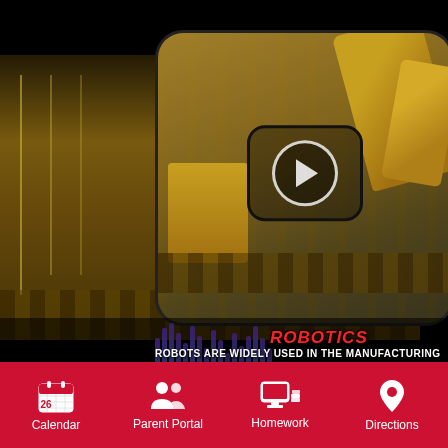[Figure (screenshot): Mobile app screenshot showing an industrial robotics video thumbnail with yellow robotic arms in a manufacturing facility. A play button overlay is visible in the center-right. A waveform graphic in purple/blue is visible at the bottom-left of the video. The text 'ROBOTICS' appears in red italic, followed by a description: 'ROBOTS ARE WIDELY USED IN THE MANUFACTURING INDU... TO PERFORM SIMPLE REPETITIVE TASKS, AND IN INDUSTRIES WHER... BE PERFORMED IN ENVIRONMENTS LESS APPEALING TO HU...']
ROBOTICS
ROBOTS ARE WIDELY USED IN THE MANUFACTURING INDU... TO PERFORM SIMPLE REPETITIVE TASKS, AND IN INDUSTRIES WHER... BE PERFORMED IN ENVIRONMENTS LESS APPEALING TO HU...
Calendar | Parent Portal | Homework | Directions